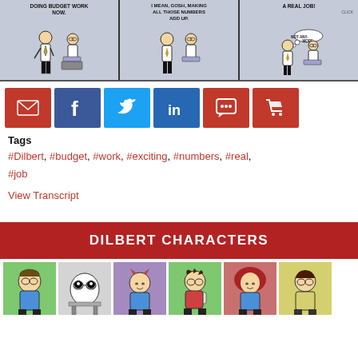[Figure (illustration): Dilbert comic strip in three panels showing office characters discussing budget work and making numbers add up, with thought bubble 'NOT ANY MORE.' Panel 1: standing man says 'DOING BUDGET WORK NOW.' Panel 2: character says 'I MEAN, GOSH, MAKING ALL THOSE NUMBERS ADD UP.' Panel 3: character says 'A REAL JOB!' with thought bubble 'NOT ANY MORE.' and sound effect 'CLICK']
[Figure (infographic): Row of six social share buttons: email (red), Facebook (dark blue), Twitter (light blue), LinkedIn (blue), comment/chat (red), shopping cart (red)]
Tags
#Dilbert, #budget, #work, #exciting, #numbers, #real, #job
View Transcript
DILBERT CHARACTERS
[Figure (illustration): Six Dilbert character thumbnail images in a row: Dilbert (green background), Dogbert (gray background), boss/devil (purple background), Alice or Asok (green background), woman with red hair (red/brown background), Wally (yellow background)]